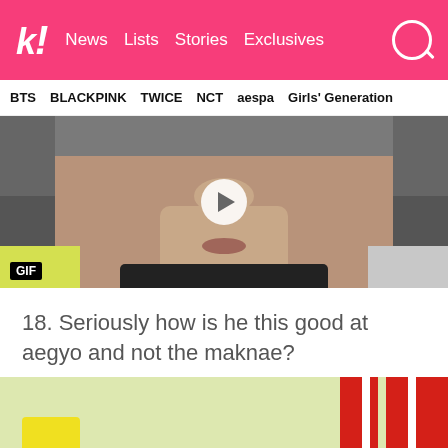k! News  Lists  Stories  Exclusives
BTS  BLACKPINK  TWICE  NCT  aespa  Girls' Generation
[Figure (photo): Close-up GIF of a person holding their hand near their face, with GIF label in bottom-left corner and play button overlay]
18. Seriously how is he this good at aegyo and not the maknae?
[Figure (photo): Photo of a person with dark hair, yellow object on left, red and white vertical stripes in background]